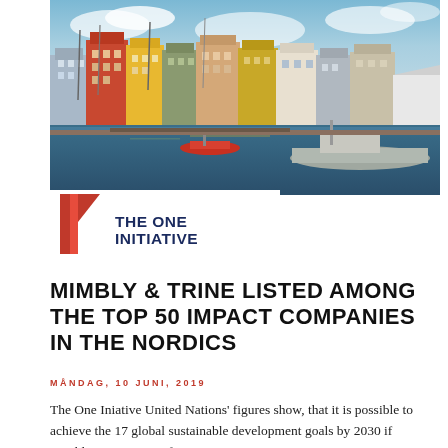[Figure (photo): Colorful waterfront buildings along a canal (Nyhavn, Copenhagen), with boats moored in the foreground and a blue cloudy sky above.]
[Figure (logo): The One Initiative logo: a red stylized number '1' icon on the left, and bold navy text 'THE ONE INITIATIVE' on the right.]
MIMBLY & TRINE LISTED AMONG THE TOP 50 IMPACT COMPANIES IN THE NORDICS
MÅNDAG, 10 JUNI, 2019
The One Iniative United Nations' figures show, that it is possible to achieve the 17 global sustainable development goals by 2030 if roughly one percent of